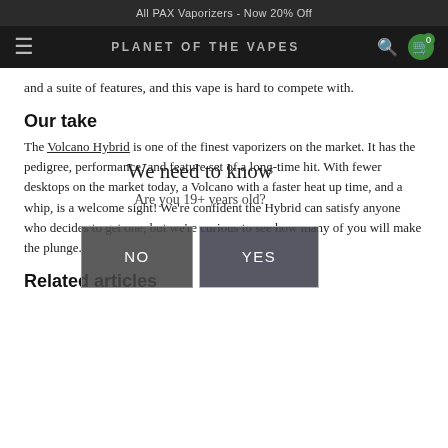All PAX Vaporizers - Now 20% Off
PLANET OF THE VAPES
and a suite of features, and this vape is hard to compete with.
Our take
The Volcano Hybrid is one of the finest vaporizers on the market. It has the pedigree, performance, and feature set of a long-time hit. With fewer desktops on the market today, a Volcano with a faster heat up time, and a whip, is a welcome sight! We're confident the Hybrid can satisfy anyone who decides to get one, but we're curious to see how many of you will make the plunge.
Related articles
[Figure (infographic): Age verification modal overlay with title 'We need to know', subtitle 'Are you 19+ years old?', and two buttons: NO and YES]